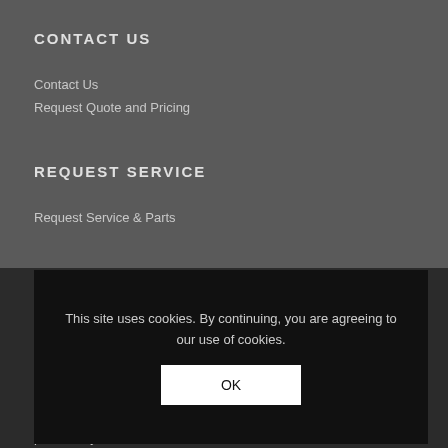CONTACT US
Contact Us
Request Quote and Pricing
REQUEST SERVICE
Request Service & Parts
VISIT OUR OTHER SOLUTIONS
Datamation Systems
iPadcarts.com
chromecarts.com
tabcarts.com
pc-security.com
This site uses cookies. By continuing, you are agreeing to our use of cookies.
OK